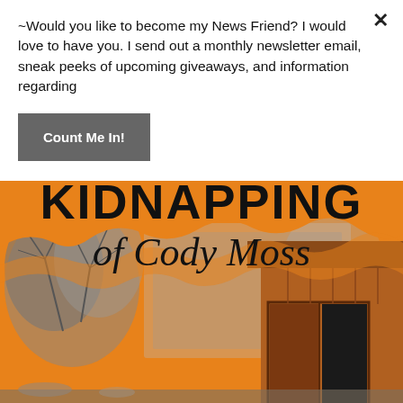~Would you like to become my News Friend? I would love to have you. I send out a monthly newsletter email, sneak peeks of upcoming giveaways, and information regarding
Count Me In!
[Figure (illustration): Book cover for 'Kidnapping of Cody Moss' showing an orange background with black hand-lettered title text at top, and a monochrome photographic image of a rural barn or shed with bare winter trees in the background.]